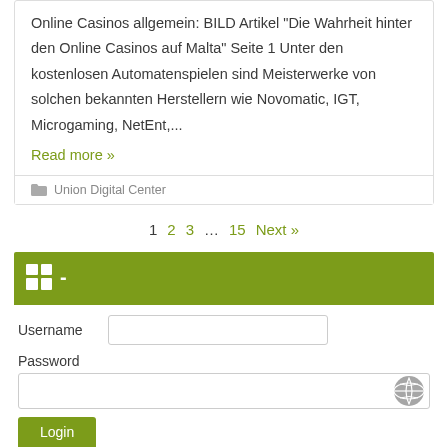Online Casinos allgemein: BILD Artikel “Die Wahrheit hinter den Online Casinos auf Malta” Seite 1 Unter den kostenlosen Automatenspielen sind Meisterwerke von solchen bekannten Herstellern wie Novomatic, IGT, Microgaming, NetEnt,...
Read more »
Union Digital Center
1  2  3  ...  15  Next »
Username
Password
Login